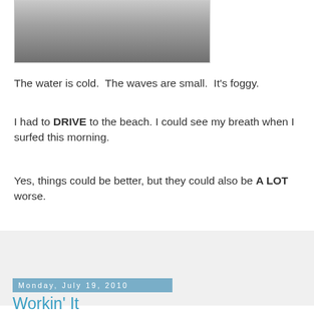[Figure (photo): Partial photo of water/waves, grayscale, partially cropped at top]
The water is cold.  The waves are small.  It's foggy.
I had to DRIVE to the beach. I could see my breath when I surfed this morning.
Yes, things could be better, but they could also be A LOT worse.
wendy@areyoubreathing.com at 8:20 PM    1 comment:
Share
Monday, July 19, 2010
Workin' It
[Figure (photo): Partial photo, dark blue water with figure, partially visible at bottom]